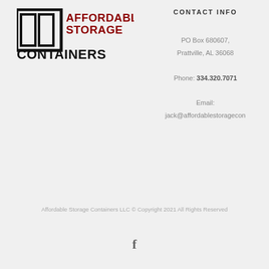[Figure (logo): Affordable Storage Containers logo with two door/panel icons and text AFFORDABLE STORAGE CONTAINERS]
CONTACT INFO
PO Box 680607, Prattville, AL 36068
Phone: 334.320.7071
Email:
jack@affordablestoragecon...
Affordable Storage Containers LLC © Copyright 2021 All Rights Reserved
[Figure (illustration): Facebook social media icon (f)]